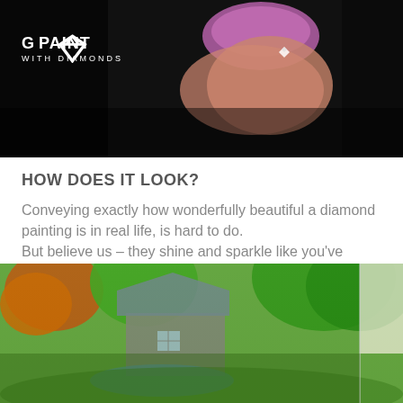[Figure (photo): Close-up photo of a hand with purple nails placing a diamond on a dark/black background. Logo 'GO PAINT WITH DIAMONDS' is overlaid in white in the top-left corner of the image.]
HOW DOES IT LOOK?
Conveying exactly how wonderfully beautiful a diamond painting is in real life, is hard to do. But believe us – they shine and sparkle like you've never seen before!
[Figure (photo): Close-up photo of a diamond painting depicting a rustic house/barn surrounded by colorful autumn trees and foliage, showing the sparkly faceted diamond-like mosaic texture.]